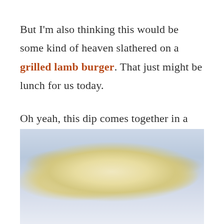But I'm also thinking this would be some kind of heaven slathered on a grilled lamb burger. That just might be lunch for us today.
Oh yeah, this dip comes together in a snap so no reason to not make it right up.
[Figure (photo): Close-up photo of a creamy white dip (likely whipped feta or similar) in a bowl, with a light blue/white background visible at the top and creamy texture throughout.]